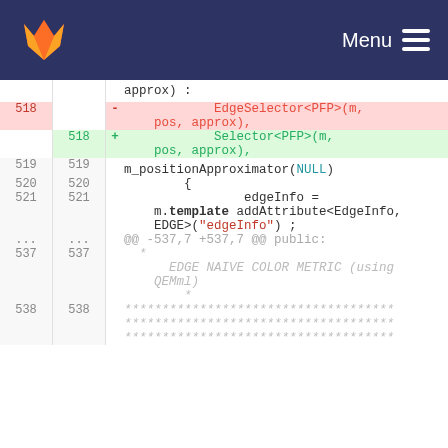Menu
[Figure (screenshot): GitLab diff view showing code changes around lines 518-538 of a C++ source file. Line 518 shows a removed line with EdgeSelector<PFP>(m, pos, approx), and an added line with Selector<PFP>(m, pos, approx),. Lines 519-521 show unchanged context including m_positionApproximator(NULL), {, edgeInfo = m.template addAttribute<EdgeInfo, EDGE>("edgeInfo") ;. Lines 537-538 show comment block with EDGE NAIVE COLOR METRIC (using QEMml) and asterisks.]